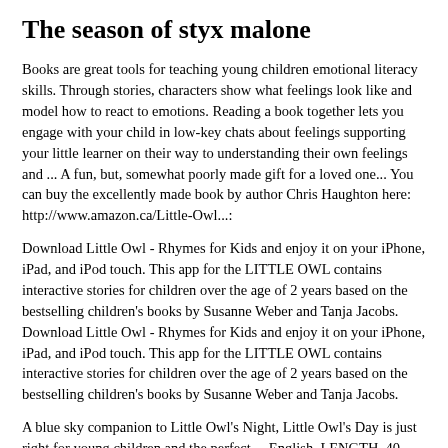The season of styx malone
Books are great tools for teaching young children emotional literacy skills. Through stories, characters show what feelings look like and model how to react to emotions. Reading a book together lets you engage with your child in low-key chats about feelings supporting your little learner on their way to understanding their own feelings and ... A fun, but, somewhat poorly made gift for a loved one... You can buy the excellently made book by author Chris Haughton here: http://www.amazon.ca/Little-Owl...:
Download Little Owl - Rhymes for Kids and enjoy it on your iPhone, iPad, and iPod touch. This app for the LITTLE OWL contains interactive stories for children over the age of 2 years based on the bestselling children's books by Susanne Weber and Tanja Jacobs. Download Little Owl - Rhymes for Kids and enjoy it on your iPhone, iPad, and iPod touch. This app for the LITTLE OWL contains interactive stories for children over the age of 2 years based on the bestselling children's books by Susanne Weber and Tanja Jacobs.
A blue sky companion to Little Owl's Night, Little Owl's Day is just right for young children and the perfect ... English. LENGTH. 40. Pages PUBLISHER. Penguin Young Readers Group. SELLER. PENGUIN GROUP USA, INC. SIZE. 48.7 MB. More Books by